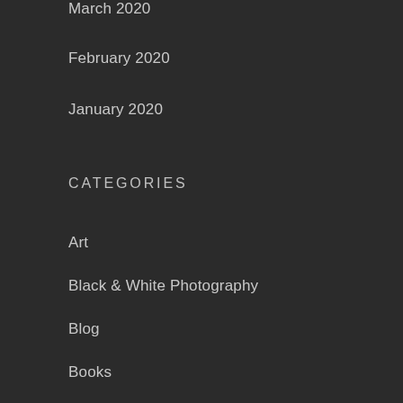March 2020
February 2020
January 2020
CATEGORIES
Art
Black & White Photography
Blog
Books
Christmas
Creativity
Garden
Life
Millesgården
Movies